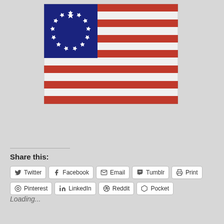[Figure (illustration): Betsy Ross flag (13-star American flag) with circle of 13 white stars on blue canton and 13 red and white stripes]
Share this:
Twitter  Facebook  Email  Tumblr  Print  Pinterest  LinkedIn  Reddit  Pocket
Loading...